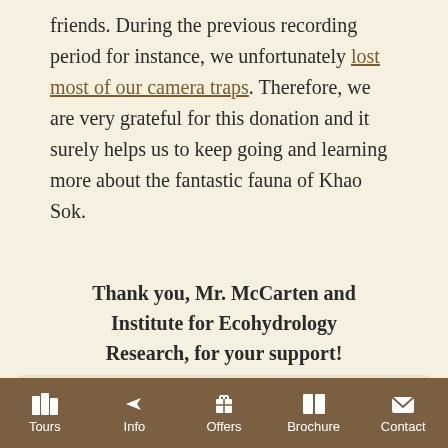friends. During the previous recording period for instance, we unfortunately lost most of our camera traps. Therefore, we are very grateful for this donation and it surely helps us to keep going and learning more about the fantastic fauna of Khao Sok.
Thank you, Mr. McCarten and Institute for Ecohydrology Research, for your support!
[Figure (other): Partially visible banner image with text 'Learn more about the Wildlife Monitoring Project' overlaid on a nature/wildlife background, faded/ghosted appearance]
Tours | Info | Offers | Brochure | Contact